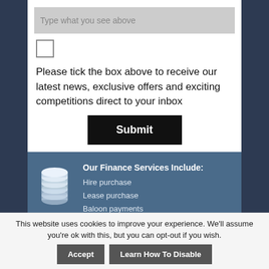Type what you see above
[Figure (other): Empty checkbox]
Please tick the box above to receive our latest news, exclusive offers and exciting competitions direct to your inbox
Submit
Our Finance Services Include:
Hire purchase
Lease purchase
Baloon payments
WE PROVIDE A COMPREHENSIVE RANGE OF FINANCE AGREEMENTS
This website uses cookies to improve your experience. We'll assume you're ok with this, but you can opt-out if you wish. Accept  Learn How To Disable